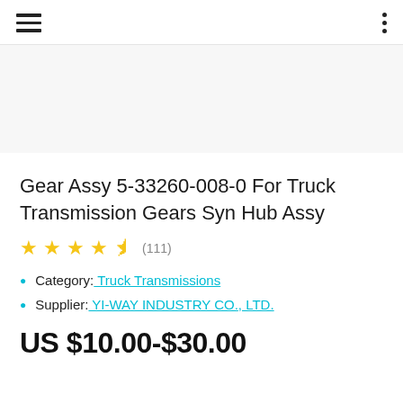≡  ⋮
[Figure (other): Product image placeholder area (light grey background, no visible product image)]
Gear Assy 5-33260-008-0 For Truck Transmission Gears Syn Hub Assy
★★★★☆ (111)
Category: Truck Transmissions
Supplier: YI-WAY INDUSTRY CO., LTD.
US $10.00-$30.00